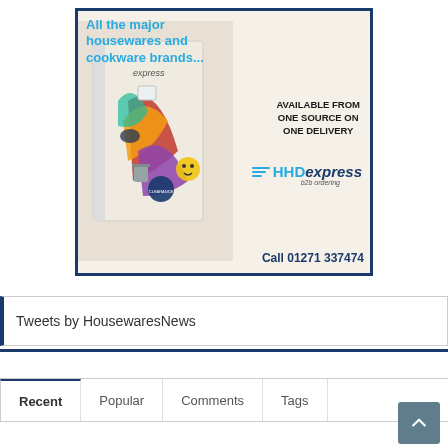[Figure (illustration): Advertisement banner for HHD Express b2b ordering. Blue border frame. Left side shows a catalog/brochure with colorful icons. Right side has text: 'All the major housewares and cookware brands...' in blue, 'AVAILABLE FROM ONE SOURCE ON ONE DELIVERY' in bold black, HHD Express logo in blue and dark blue, and 'Call 01271 337474' in dark blue bold.]
Tweets by HousewaresNews
Recent
Popular
Comments
Tags